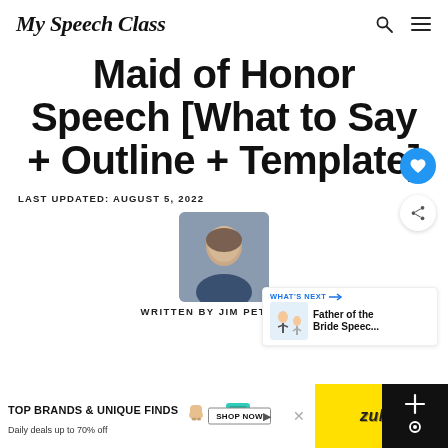My Speech Class
Maid of Honor Speech [What to Say + Outline + Template]
LAST UPDATED: AUGUST 5, 2022
[Figure (photo): Author headshot - man in suit smiling]
[Figure (other): What's Next box: Father of the Bride Speec...]
WRITTEN BY JIM PETERSON
[Figure (other): Advertisement banner: TOP BRANDS & UNIQUE FINDS - Daily deals up to 70% off - SHOP NOW - zulily]